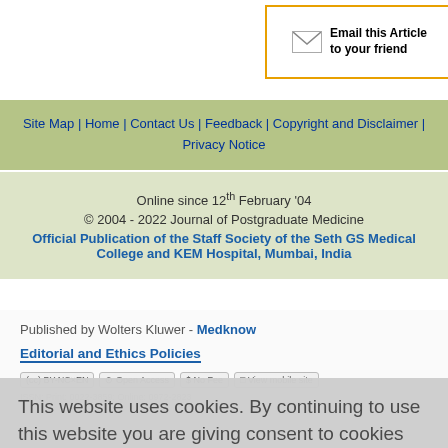Email this Article to your friend | Previous article
Site Map | Home | Contact Us | Feedback | Copyright and Disclaimer | Privacy Notice
Online since 12th February '04
© 2004 - 2022 Journal of Postgraduate Medicine
Official Publication of the Staff Society of the Seth GS Medical College and KEM Hospital, Mumbai, India
Published by Wolters Kluwer - Medknow
Editorial and Ethics Policies
This website uses cookies. By continuing to use this website you are giving consent to cookies being used. For information on cookies and how you can disable them visit our
Privacy and Cookie Policy.
AGREE & PROCEED